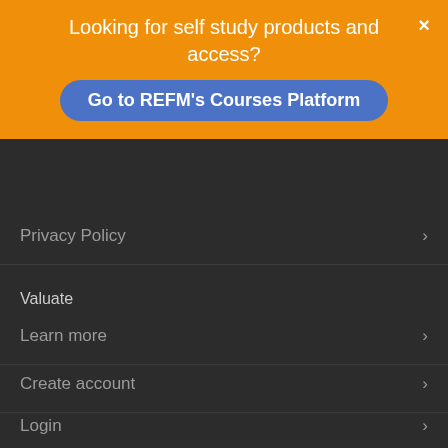Looking for self study products and access?
Go to REFM's Courses Platform
Privacy Policy
Valuate
Learn more
Create account
Login
Customer Support
Support Center